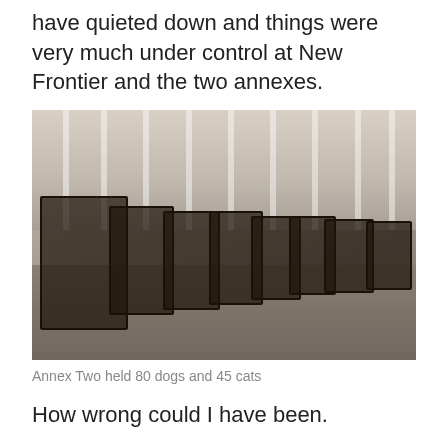have quieted down and things were very much under control at New Frontier and the two annexes.
[Figure (photo): Interior room with unpainted drywall walls, showing multiple wire animal crates/cages lined up along the wall on a concrete floor.]
Annex Two held 80 dogs and 45 cats
How wrong could I have been.